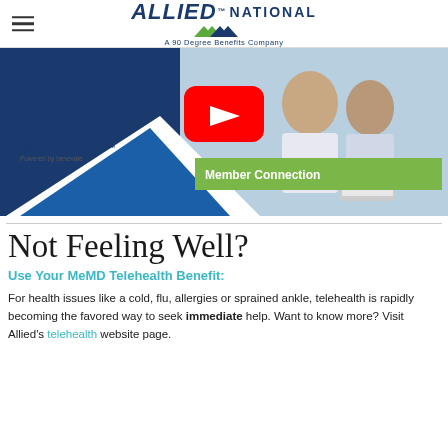ALLIED National — A 90 Degree Benefits Company
[Figure (screenshot): Video thumbnail showing Allied Member Connection powered by benevate, with a YouTube play button overlay, a green 'Member Connection' bar, and a background image of two people.]
Not Feeling Well?
Use Your MeMD Telehealth Benefit:
For health issues like a cold, flu, allergies or sprained ankle, telehealth is rapidly becoming the favored way to seek immediate help. Want to know more? Visit Allied's telehealth website page.